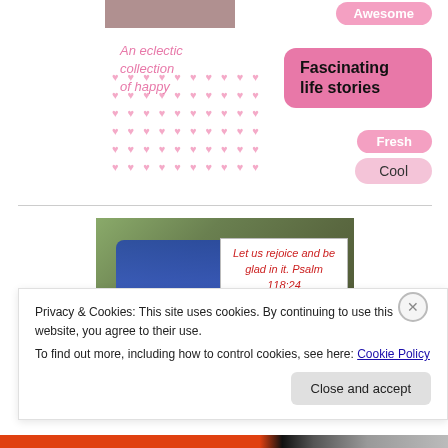[Figure (photo): Partial photo of a person at the top, with pink decorative dot pattern background and pink italic text 'An eclectic collection of happy']
An eclectic collection of happy
Awesome
Fascinating life stories
Fresh
Cool
[Figure (photo): Outdoor photo of a person wearing a patterned garment, with an overlaid white box containing red italic text: 'Let us rejoice and be glad in it. Psalm 118:24']
Let us rejoice and be glad in it. Psalm 118:24
Privacy & Cookies: This site uses cookies. By continuing to use this website, you agree to their use.
To find out more, including how to control cookies, see here: Cookie Policy
Close and accept